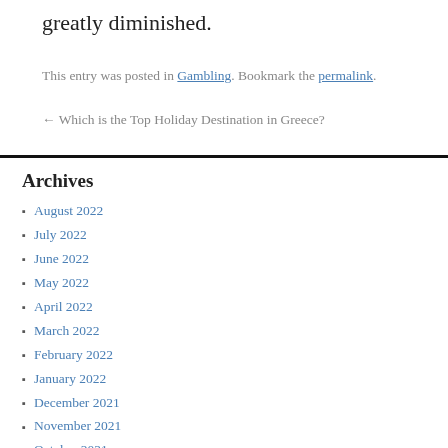greatly diminished.
This entry was posted in Gambling. Bookmark the permalink.
← Which is the Top Holiday Destination in Greece?
Archives
August 2022
July 2022
June 2022
May 2022
April 2022
March 2022
February 2022
January 2022
December 2021
November 2021
October 2021
September 2021
August 2021
July 2021